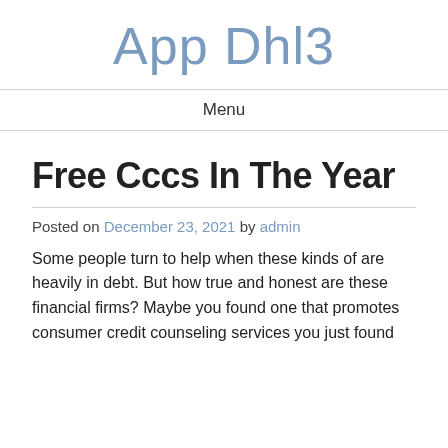App Dhl3
Menu
Free Cccs In The Year
Posted on December 23, 2021 by admin
Some people turn to help when these kinds of are heavily in debt. But how true and honest are these financial firms? Maybe you found one that promotes consumer credit counseling services you just found for your own needs but how do you know it is the right one?